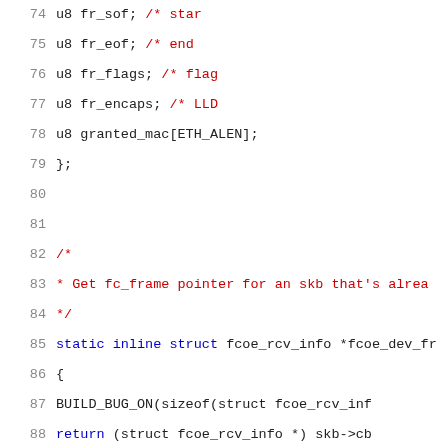[Figure (screenshot): Source code listing showing C kernel code, lines 74-95, with line numbers, struct fields (u8 types), comments, and function definitions for FCoE (Fibre Channel over Ethernet) networking code.]